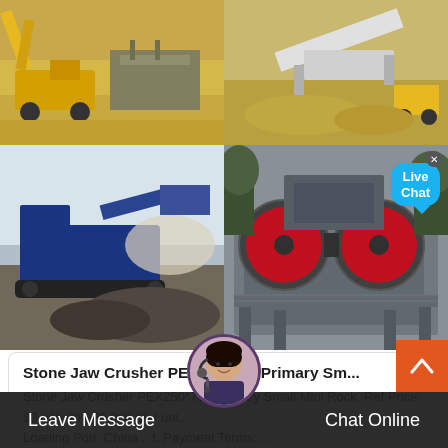[Figure (photo): Top-left: Yellow excavator and crushing equipment at an open quarry/mining site with sandy terrain]
[Figure (photo): Top-right: Aerial view of a conveyor/screening machine on sandy terrain with a loader]
[Figure (photo): Bottom-left: Blue mobile jaw crusher operating at a site with dust cloud and crushed rock pile]
[Figure (photo): Bottom-right: Industrial jaw crusher machine with red flywheels on a steel frame, with Live Chat bubble overlay]
Stone Jaw Crusher PEX250*750 Primary Sm...
Stone Jaw Crusher PEX250*750 Primary Small Mini Rock. Ref Price: $3,000.00 - 30,000.00 / uni... Loading Port: China... t. Payment Terms:.... TT or LC. Min Order Q... unit.
Leave Message
Chat Online